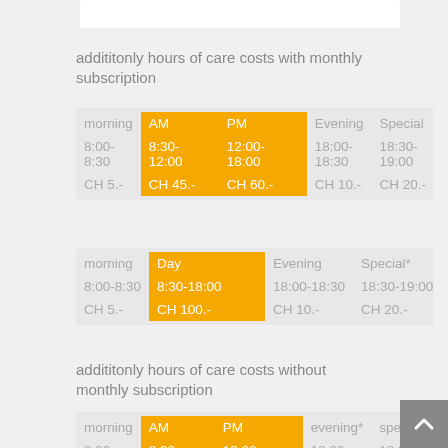addititonly hours of care costs with monthly subscription
| morning | AM | PM | Evening | Special |
| --- | --- | --- | --- | --- |
| 8:00-
8:30 | 8:30-
12:00 | 12:00-
18:00 | 18:00-
18:30 | 18:30-
19:00 |
| CH 5.- | CH 45.- | CH 60.- | CH 10.- | CH 20.- |
| morning | Day | Evening | Special* |
| --- | --- | --- | --- |
| 8:00-8:30 | 8:30-18:00 | 18:00-18:30 | 18:30-19:00 |
| CH 5.- | CH 100.- | CH 10.- | CH 20.- |
addititonly hours of care costs without monthly subscription
| morning | AM | PM | evening* | specials* |
| --- | --- | --- | --- | --- |
| 8:00- | 8:30- | 12:00- | 18:00- | 18:30- |